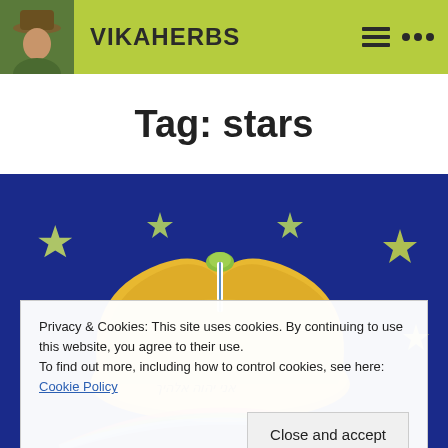VIKAHERBS
Tag: stars
[Figure (illustration): Painting on blue background showing a golden crown with Hebrew text inscription and yellow stars scattered around]
Privacy & Cookies: This site uses cookies. By continuing to use this website, you agree to their use.
To find out more, including how to control cookies, see here: Cookie Policy
Close and accept